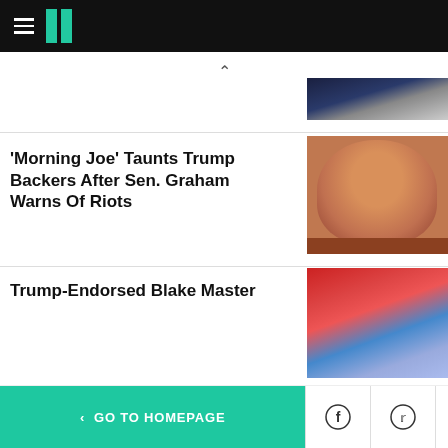HuffPost navigation bar with hamburger menu and logo
[Figure (photo): Partial photo of a person in suit with blue tie, cropped at bottom of upper section]
'Morning Joe' Taunts Trump Backers After Sen. Graham Warns Of Riots
[Figure (photo): Close-up photo of Senator Lindsey Graham with an angry expression]
Trump-Endorsed Blake Master...
[Figure (photo): Partial photo of man at podium with American flag in background]
< GO TO HOMEPAGE  [Facebook icon] [Twitter icon] [X/close icon]